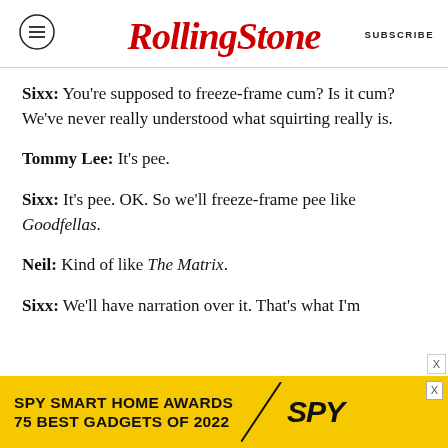Rolling Stone | SUBSCRIBE
Sixx: You're supposed to freeze-frame cum? Is it cum? We've never really understood what squirting really is.
Tommy Lee: It's pee.
Sixx: It's pee. OK. So we'll freeze-frame pee like Goodfellas.
Neil: Kind of like The Matrix.
Sixx: We'll have narration over it. That's what I'm
[Figure (other): Advertisement banner: SPY Smart Home Awards – 75 Best Gadgets of 2022, yellow background with SPY logo]